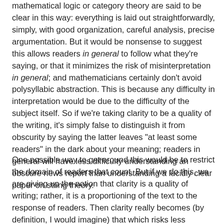mathematical logic or category theory are said to be clear in this way: everything is laid out straightforwardly, simply, with good organization, careful analysis, precise argumentation. But it would be nonsense to suggest this allows readers in general to follow what they're saying, or that it minimizes the risk of misinterpretation in general; and mathematicians certainly don't avoid polysyllabic abstraction. This is because any difficulty in interpretation would be due to the difficulty of the subject itself. So if we're taking clarity to be a quality of the writing, it's simply false to distinguish it from obscurity by saying the latter leaves "at least some readers" in the dark about your meaning; readers in general will have less difficulty understanding an obscure news report than understanding a lucidly clear paper on string theory.
One possible way to get around this would be to restrict the domain of readers that count. But if we do this, we are giving up the notion that clarity is a quality of writing; rather, it is a proportioning of the text to the response of readers. Then clarity really becomes (by definition, I would imagine) that which risks less misinterpretation. But here we run into the question of which readers are supposed to be the standard